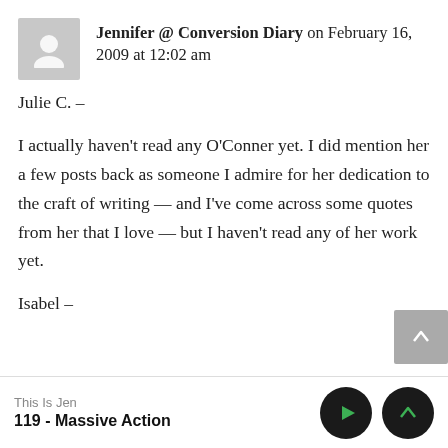Jennifer @ Conversion Diary on February 16, 2009 at 12:02 am
Julie C. –

I actually haven't read any O'Conner yet. I did mention her a few posts back as someone I admire for her dedication to the craft of writing — and I've come across some quotes from her that I love — but I haven't read any of her work yet.

Isabel –
This Is Jen
119 - Massive Action